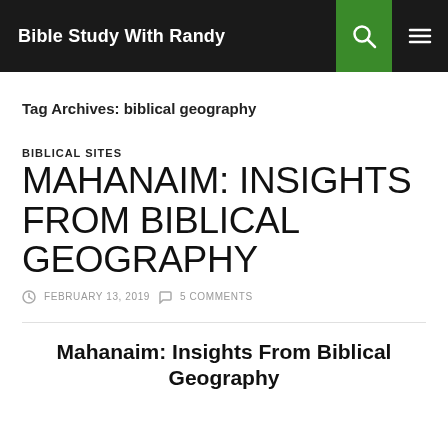Bible Study With Randy
Tag Archives: biblical geography
BIBLICAL SITES
MAHANAIM: INSIGHTS FROM BIBLICAL GEOGRAPHY
FEBRUARY 13, 2019   5 COMMENTS
Mahanaim: Insights From Biblical Geography